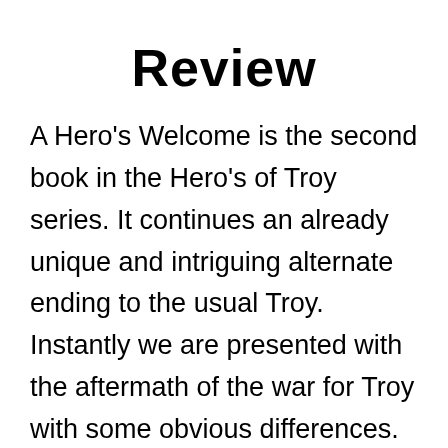Review
A Hero's Welcome is the second book in the Hero's of Troy series. It continues an already unique and intriguing alternate ending to the usual Troy. Instantly we are presented with the aftermath of the war for Troy with some obvious differences. The victors return home after a gruelling 10 year war, exhausted and longing for their home, while the last remnants of Troy are on the run. During the first part of the book there is a strong focus